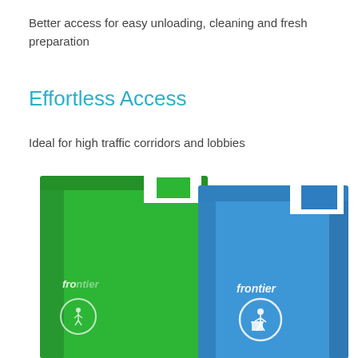Better access for easy unloading, cleaning and fresh preparation
Effortless Access
Ideal for high traffic corridors and lobbies
[Figure (photo): Two Frontier brand waste bins — one green (left, partially visible) and one blue (right, foreground) — both with open-top slot openings and white branding logos showing a person disposing of waste.]